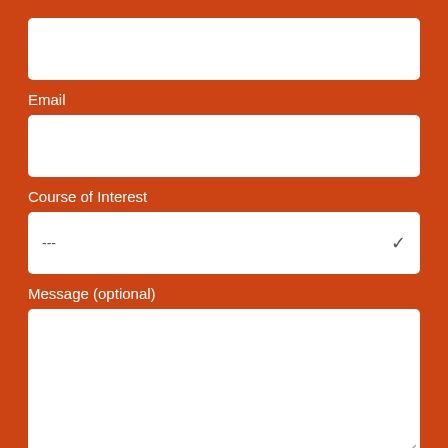Email
Course of Interest
---
Message (optional)